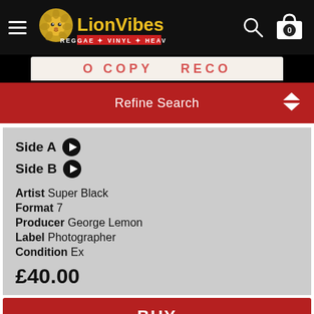LionVibes — Reggae Vinyl Heaven
[Figure (screenshot): Partial view of a vinyl record label showing red text 'CO...' and 'RECO...' on white background, inside LionVibes website header.]
Refine Search
Side A ▶
Side B ▶
Artist Super Black
Format 7
Producer George Lemon
Label Photographer
Condition Ex
£40.00
BUY